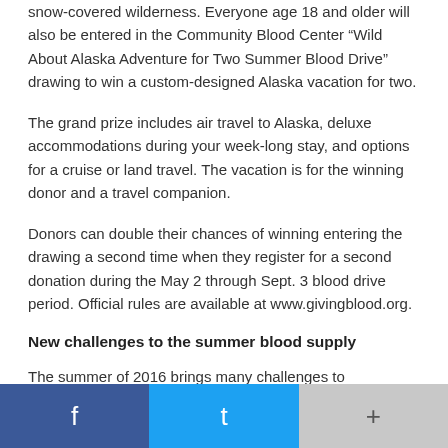snow-covered wilderness. Everyone age 18 and older will also be entered in the Community Blood Center “Wild About Alaska Adventure for Two Summer Blood Drive” drawing to win a custom-designed Alaska vacation for two.
The grand prize includes air travel to Alaska, deluxe accommodations during your week-long stay, and options for a cruise or land travel. The vacation is for the winning donor and a travel companion.
Donors can double their chances of winning entering the drawing a second time when they register for a second donation during the May 2 through Sept. 3 blood drive period. Official rules are available at www.givingblood.org.
New challenges to the summer blood supply
The summer of 2016 brings many challenges to maintaining the regional blood supply. High schools are on summer break,